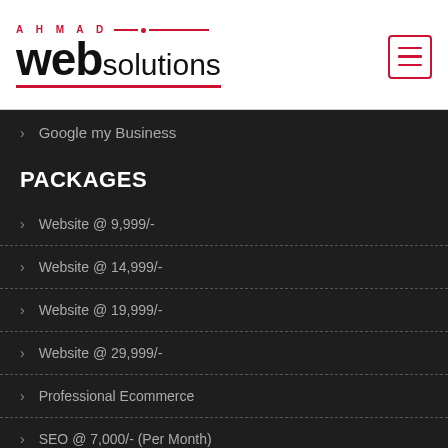[Figure (logo): Ahmad Web Solutions logo with red brand name top and hamburger menu icon on the right]
Google my Business
PACKAGES
Website @ 9,999/-
Website @ 14,999/-
Website @ 19,999/-
Website @ 29,999/-
Professional Ecommerce
SEO @ 7,000/- (Per Month)